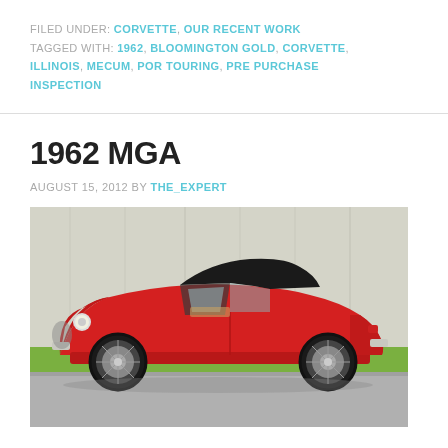FILED UNDER: CORVETTE, OUR RECENT WORK TAGGED WITH: 1962, BLOOMINGTON GOLD, CORVETTE, ILLINOIS, MECUM, POR TOURING, PRE PURCHASE INSPECTION
1962 MGA
AUGUST 15, 2012 BY THE_EXPERT
[Figure (photo): Side profile of a classic red 1962 MGA convertible sports car with black soft top, wire wheels, parked on a paved surface with a green lawn and wooden background]